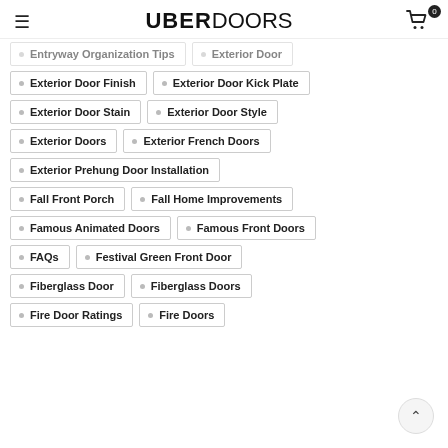UBERDOORS
Entryway Organization Tips
Exterior Door
Exterior Door Finish
Exterior Door Kick Plate
Exterior Door Stain
Exterior Door Style
Exterior Doors
Exterior French Doors
Exterior Prehung Door Installation
Fall Front Porch
Fall Home Improvements
Famous Animated Doors
Famous Front Doors
FAQs
Festival Green Front Door
Fiberglass Door
Fiberglass Doors
Fire Door Ratings
Fire Doors